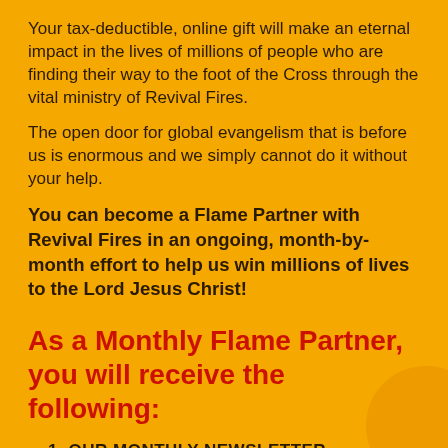Your tax-deductible, online gift will make an eternal impact in the lives of millions of people who are finding their way to the foot of the Cross through the vital ministry of Revival Fires.
The open door for global evangelism that is before us is enormous and we simply cannot do it without your help.
You can become a Flame Partner with Revival Fires in an ongoing, month-by-month effort to help us win millions of lives to the Lord Jesus Christ!
As a Monthly Flame Partner, you will receive the following:
1. OUR MONTHLY NEWSLETTER
You'll receive our monthly newsletter with a message to encourage you, help you live for God